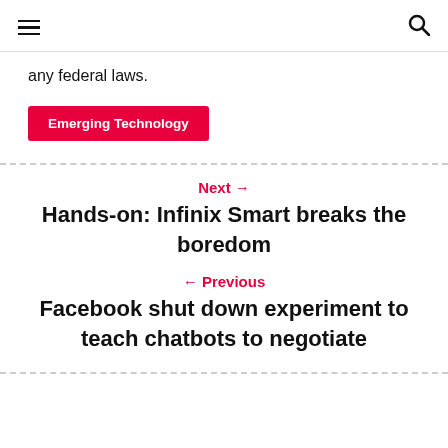≡  🔍
any federal laws.
Emerging Technology
Next → Hands-on: Infinix Smart breaks the boredom
← Previous Facebook shut down experiment to teach chatbots to negotiate